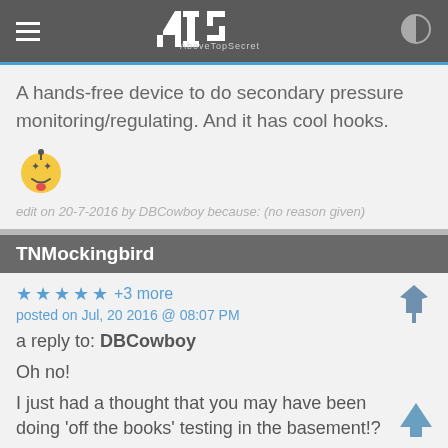ATS AboveTopSecret
A hands-free device to do secondary pressure monitoring/regulating. And it has cool hooks.
[Figure (illustration): Smiley emoji with sunglasses]
edit on 20-7-2016 by DBCowboy because: (no reason given)
TNMockingbird
★ ★ ★ ★ ★ +3 more
posted on Jul, 20 2016 @ 08:07 PM
a reply to: DBCowboy
Oh no!
I just had a thought that you may have been doing 'off the books' testing in the basement!?